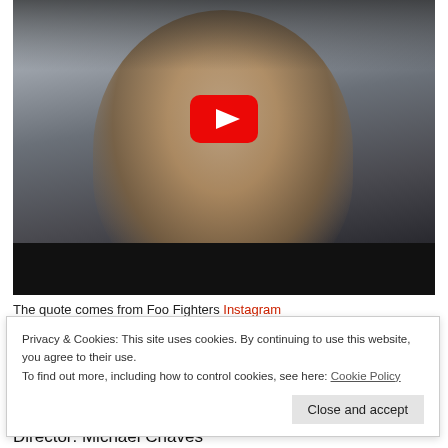[Figure (screenshot): YouTube video thumbnail showing a young woman with dark hair, earrings, and a chain necklace, looking up with a YouTube play button overlay in the center. A black bar appears at the bottom of the video player.]
The quote comes from Foo Fighters Instagram
Privacy & Cookies: This site uses cookies. By continuing to use this website, you agree to their use. To find out more, including how to control cookies, see here: Cookie Policy
Close and accept
Director: Michael Chaves